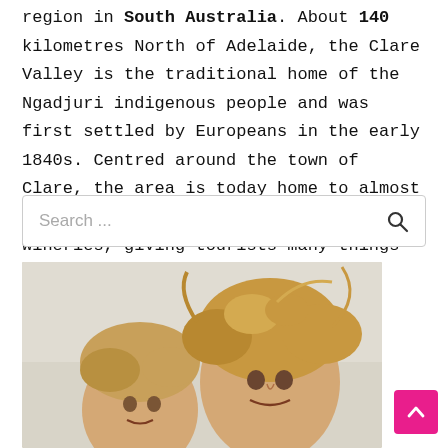region in South Australia. About 140 kilometres North of Adelaide, the Clare Valley is the traditional home of the Ngadjuri indigenous people and was first settled by Europeans in the early 1840s. Centred around the town of Clare, the area is today home to almost 10,000 people and nearly 50 separate wineries, giving tourists many things to do in the Clare Valley.
Search ...
[Figure (photo): Photo of a woman and young child (toddler) with windswept blonde hair, appearing to be outdoors at a beach or similar location. Both are smiling and close together.]